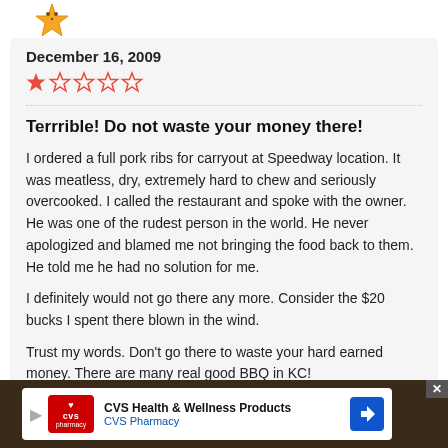[Figure (illustration): Golden star/bear icon at top]
December 16, 2009
[Figure (other): 1 out of 5 stars rating in red/orange]
Terrrible! Do not waste your money there!
I ordered a full pork ribs for carryout at Speedway location. It was meatless, dry, extremely hard to chew and seriously overcooked. I called the restaurant and spoke with the owner. He was one of the rudest person in the world. He never apologized and blamed me not bringing the food back to them. He told me he had no solution for me.
I definitely would not go there any more. Consider the $20 bucks I spent there blown in the wind.
Trust my words. Don't go there to waste your hard earned money. There are many real good BBQ in KC!
[Figure (other): CVS Health & Wellness Products advertisement banner at bottom]